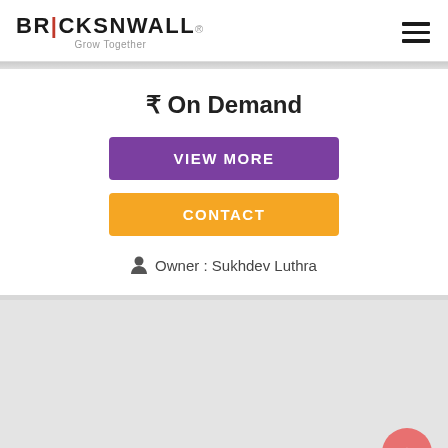[Figure (logo): BricksNWall logo with tagline 'Grow Together']
₹ On Demand
VIEW MORE
CONTACT
Owner : Sukhdev Luthra
[Figure (screenshot): Lower gray section with back-to-top button]